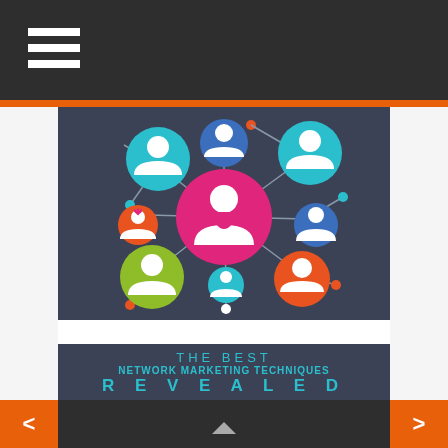[Figure (infographic): Network marketing infographic showing a central pink circle with a female silhouette connected by lines to 7 surrounding circles of different colors (teal, blue, teal-large, orange-small, blue-small, orange-large, green-large, teal-small) each containing person silhouettes, with small connector dots along the lines]
THE BEST
NETWORK MARKETING TECHNIQUES
REVEALED